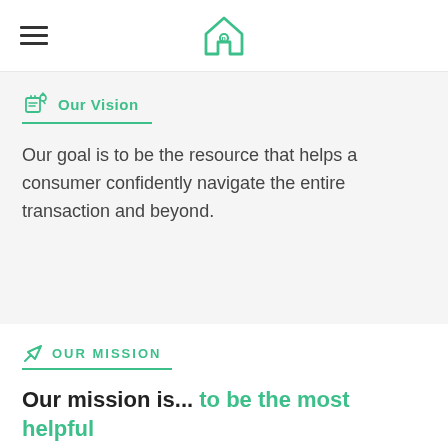Navigation header with hamburger menu and house logo
Our Vision
Our goal is to be the resource that helps a consumer confidently navigate the entire transaction and beyond.
OUR MISSION
Our mission is... to be the most helpful